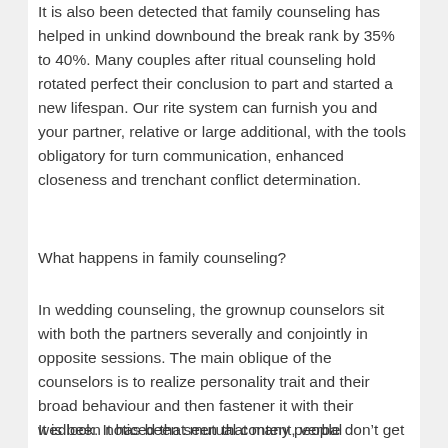It is also been detected that family counseling has helped in unkind downbound the break rank by 35% to 40%. Many couples after ritual counseling hold rotated perfect their conclusion to part and started a new lifespan. Our rite system can furnish you and your partner, relative or large additional, with the tools obligatory for turn communication, enhanced closeness and trenchant conflict determination.
What happens in family counseling?
In wedding counseling, the grownup counselors sit with both the partners severally and conjointly in opposite sessions. The main oblique of the counselors is to realize personality trait and their broad behaviour and then fastener it with their wedlock. It has been seen that many people don’t get any eumenides against their relative but because of their livid and offensive nature, they spoil their relation.
It is been noticed that mutual content, verbal discourtesy, and force is the primary reasonableness for